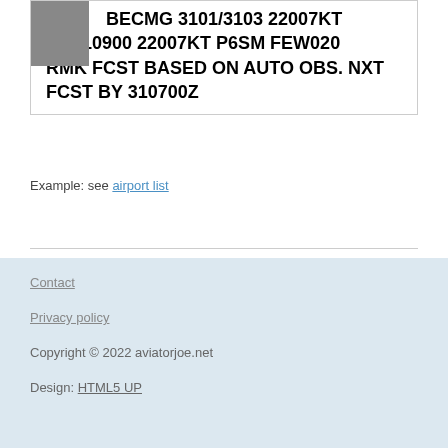BECMG 3101/3103 22007KT FM310900 22007KT P6SM FEW020 RMK FCST BASED ON AUTO OBS. NXT FCST BY 310700Z
Example: see airport list
Contact
Privacy policy
Copyright © 2022 aviatorjoe.net
Design: HTML5 UP